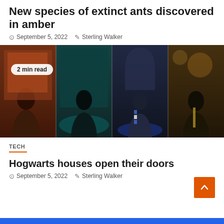New species of extinct ants discovered in amber
September 5, 2022   Sterling Walker
[Figure (photo): Four-panel collage of Hogwarts Legacy game screenshots showing student characters from behind in various wizarding school environments, with a '2 min read' badge overlay.]
TECH
Hogwarts houses open their doors
September 5, 2022   Sterling Walker